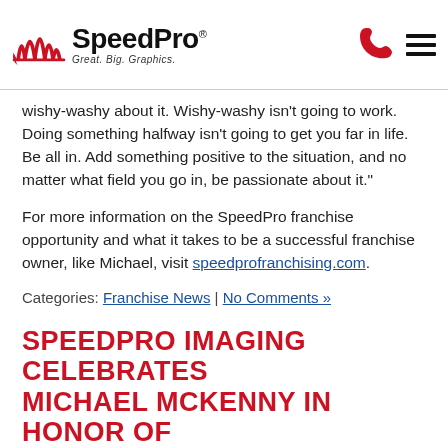SpeedPro — Great. Big. Graphics.
wishy-washy about it. Wishy-washy isn't going to work. Doing something halfway isn't going to get you far in life. Be all in. Add something positive to the situation, and no matter what field you go in, be passionate about it."
For more information on the SpeedPro franchise opportunity and what it takes to be a successful franchise owner, like Michael, visit speedprofranchising.com.
Categories: Franchise News | No Comments »
SPEEDPRO IMAGING CELEBRATES MICHAEL MCKENNY IN HONOR OF